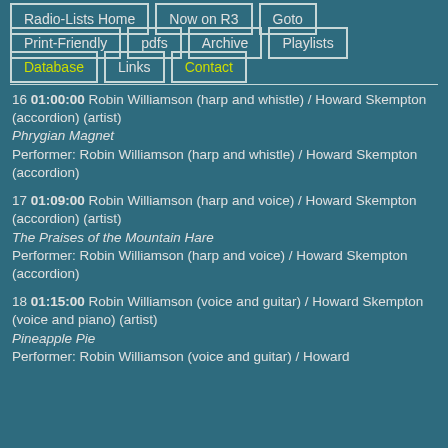Radio-Lists Home
Now on R3
Goto
Print-Friendly
pdfs
Archive
Playlists
Database
Links
Contact
16 01:00:00 Robin Williamson (harp and whistle) / Howard Skempton (accordion) (artist)
Phrygian Magnet
Performer: Robin Williamson (harp and whistle) / Howard Skempton (accordion)
17 01:09:00 Robin Williamson (harp and voice) / Howard Skempton (accordion) (artist)
The Praises of the Mountain Hare
Performer: Robin Williamson (harp and voice) / Howard Skempton (accordion)
18 01:15:00 Robin Williamson (voice and guitar) / Howard Skempton (voice and piano) (artist)
Pineapple Pie
Performer: Robin Williamson (voice and guitar) / Howard